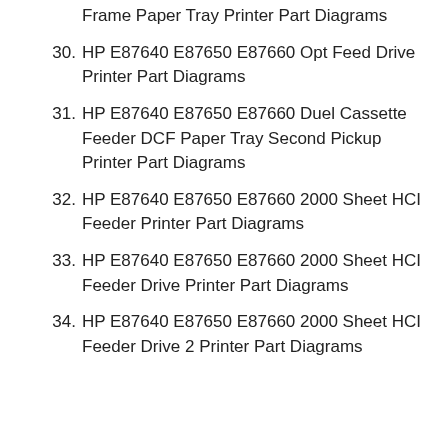Frame Paper Tray Printer Part Diagrams
30. HP E87640 E87650 E87660 Opt Feed Drive Printer Part Diagrams
31. HP E87640 E87650 E87660 Duel Cassette Feeder DCF Paper Tray Second Pickup Printer Part Diagrams
32. HP E87640 E87650 E87660 2000 Sheet HCI Feeder Printer Part Diagrams
33. HP E87640 E87650 E87660 2000 Sheet HCI Feeder Drive Printer Part Diagrams
34. HP E87640 E87650 E87660 2000 Sheet HCI Feeder Drive 2 Printer Part Diagrams